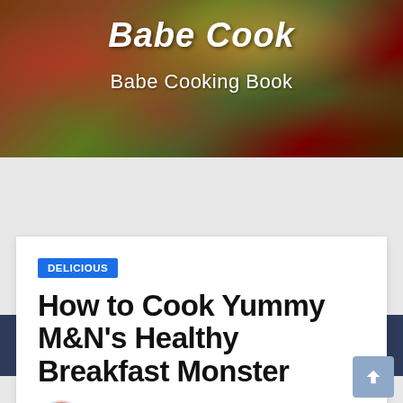Babe Cook — Babe Cooking Book
[Figure (screenshot): Website navigation bar with home icon, hamburger menu, and search icon on dark navy background]
DELICIOUS
How to Cook Yummy M&N's Healthy Breakfast Monster
By babeenchone